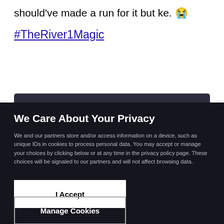Nyakane should've made a run for it but ke. 😭
#TheRiver1Magic
We Care About Your Privacy
We and our partners store and/or access information on a device, such as unique IDs in cookies to process personal data. You may accept or manage your choices by clicking below or at any time in the privacy policy page. These choices will be signaled to our partners and will not affect browsing data.
We process data with the following partners:
List of Partners (vendors)
I Accept
Manage Cookies